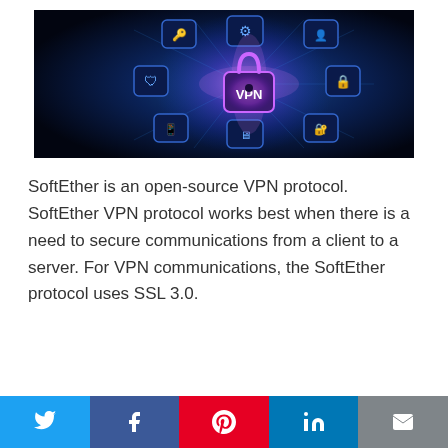[Figure (photo): Dark blue tech background showing a glowing padlock with 'VPN' label surrounded by network security icons connected by glowing lines, representing a VPN network concept.]
SoftEther is an open-source VPN protocol. SoftEther VPN protocol works best when there is a need to secure communications from a client to a server. For VPN communications, the SoftEther protocol uses SSL 3.0.